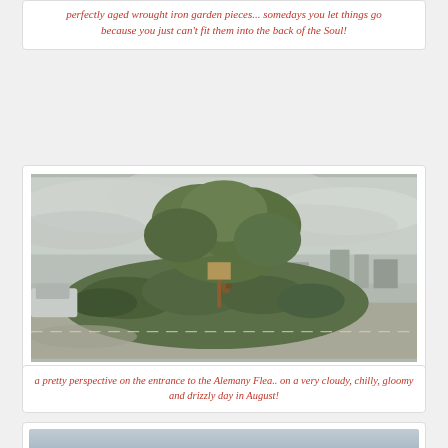perfectly aged wrought iron garden pieces... somedays you let things go because you just can't fit them into the back of the Soul!
[Figure (photo): Roundabout at the entrance of Alemany Flea Market with a large tree and shrubs, on a cloudy overcast day]
a pretty perspective on the entrance to the Alemany Flea.. on a very cloudy, chilly, gloomy and drizzly day in August!
[Figure (photo): Partial view of another photo, cut off at bottom of page]